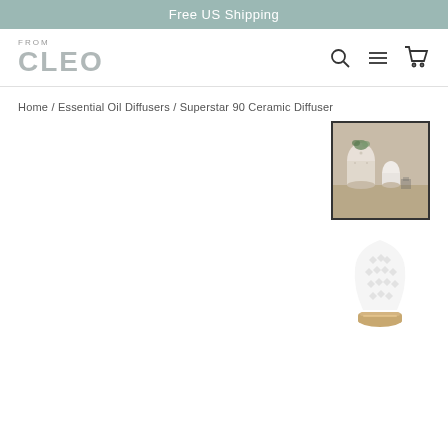Free US Shipping
[Figure (logo): FROM CLEO logo with navigation icons (search, menu, cart)]
Home / Essential Oil Diffusers / Superstar 90 Ceramic Diffuser
[Figure (photo): Thumbnail 1 (selected): Ceramic diffuser scene with plants on wooden surface]
[Figure (photo): Thumbnail 2: White ceramic diffuser with diamond pattern and wood base on white background]